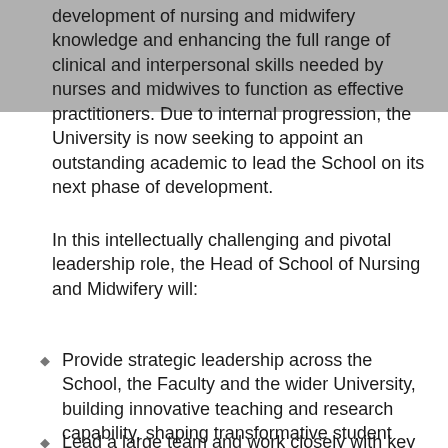development of nursing and midwifery knowledge and enhancing the full range of clinical and interpersonal skills needed by nurses and midwives to function as effective practitioners. Due to internal progression, the University is now seeking to appoint an outstanding academic to lead the School on its next phase of development.
In this intellectually challenging and pivotal leadership role, the Head of School of Nursing and Midwifery will:
Provide strategic leadership across the School, the Faculty and the wider University, building innovative teaching and research capability, shaping transformative student experience and continuing to raise the domestic and international profile of the School.
Lead a large team and work closely with key